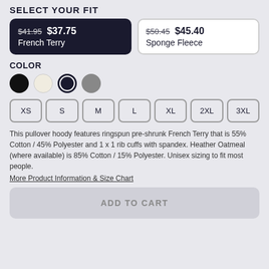SELECT YOUR FIT
$41.95 $37.75 French Terry (selected)
$50.45 $45.40 Sponge Fleece
COLOR
[Figure (other): Four color swatches: black, cream/oatmeal, dark navy (selected, with ring), and grey]
XS
S
M
L
XL
2XL
3XL
This pullover hoody features ringspun pre-shrunk French Terry that is 55% Cotton / 45% Polyester and 1 x 1 rib cuffs with spandex. Heather Oatmeal (where available) is 85% Cotton / 15% Polyester. Unisex sizing to fit most people.
More Product Information & Size Chart
ADD TO CART